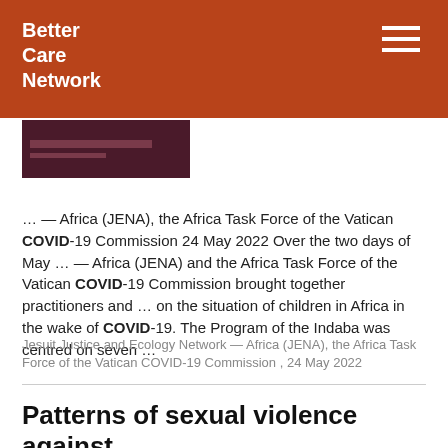Better Care Network
[Figure (photo): Thumbnail image with dark maroon background, partially visible text and a small bar element]
… — Africa (JENA), the Africa Task Force of the Vatican COVID-19 Commission 24 May 2022 Over the two days of May … — Africa (JENA) and the Africa Task Force of the Vatican COVID-19 Commission brought together practitioners and … on the situation of children in Africa in the wake of COVID-19. The Program of the Indaba was centred on seven …
Jesuit Justice and Ecology Network — Africa (JENA), the Africa Task Force of the Vatican COVID-19 Commission , 24 May 2022
Patterns of sexual violence against